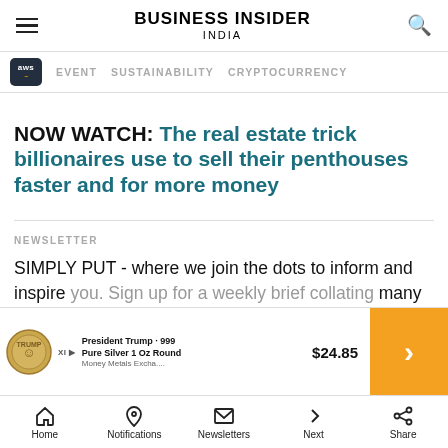BUSINESS INSIDER INDIA
EVENT   SUSTAINABILITY   CRYPTOCURRENCY
NOW WATCH: The real estate trick billionaires use to sell their penthouses faster and for more money
NEWSLETTER
SIMPLY PUT - where we join the dots to inform and inspire you. Sign up for a weekly brief collating many news i... ed
[Figure (other): Advertisement banner: President Trump 999 Pure Silver 1 Oz Round, $24.85, Money Metals Excha...]
Home   Notifications   Newsletters   Next   Share